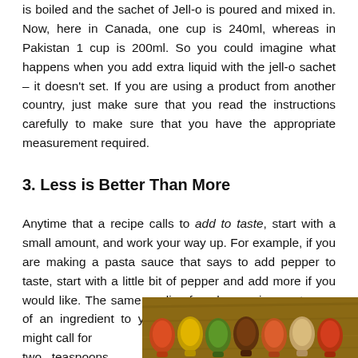is boiled and the sachet of Jell-o is poured and mixed in. Now, here in Canada, one cup is 240ml, whereas in Pakistan 1 cup is 200ml. So you could imagine what happens when you add extra liquid with the jell-o sachet – it doesn't set. If you are using a product from another country, just make sure that you read the instructions carefully to make sure that you have the appropriate measurement required.
3. Less is Better Than More
Anytime that a recipe calls to add to taste, start with a small amount, and work your way up. For example, if you are making a pasta sauce that says to add pepper to taste, start with a little bit of pepper and add more if you would like. The same applies for when recipes put more of an ingredient to your liking. For instance, a recipe might call for two teaspoons of red chilli
[Figure (photo): A row of wooden spoons filled with various colorful spices and ingredients, viewed from above on a wooden surface.]